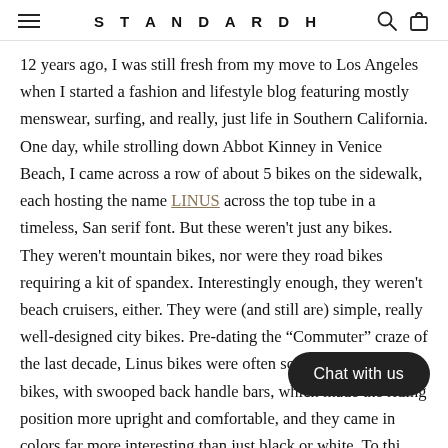STANDARDH
12 years ago, I was still fresh from my move to Los Angeles when I started a fashion and lifestyle blog featuring mostly menswear, surfing, and really, just life in Southern California. One day, while strolling down Abbot Kinney in Venice Beach, I came across a row of about 5 bikes on the sidewalk, each hosting the name LINUS across the top tube in a timeless, San serif font. But these weren't just any bikes. They weren't mountain bikes, nor were they road bikes requiring a kit of spandex. Interestingly enough, they weren't beach cruisers, either. They were (and still are) simple, really well-designed city bikes. Pre-dating the “Commuter” craze of the last decade, Linus bikes were often sold as single speed bikes, with swooped back handle bars, which made the riding position more upright and comfortable, and they came in colors far more interesting than just black or white. To thi... complimented on mine which I soon purc... Linus on my blog which is actually still in existence though all but ignored since 2013 and can be found at: